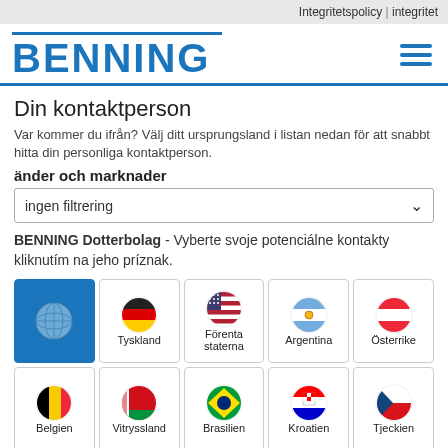Integritetspolicy | integritet
[Figure (logo): BENNING company logo in blue, with hamburger menu icon]
Din kontaktperson
Var kommer du ifrån? Välj ditt ursprungsland i listan nedan för att snabbt hitta din personliga kontaktperson.
änder och marknader
ingen filtrering
BENNING Dotterbolag - Vyberte svoje potenciálne kontakty kliknutím na jeho príznak.
[Figure (screenshot): Grid of country flag icons: globe (active/selected), Deutschland, Förenta staterna, Argentina, Österrike, Belgien, Vitryssland, Brasilien, Kroatien, Tjeckien, plus partial bottom row]